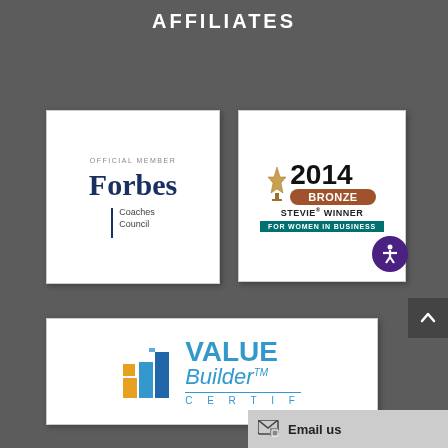AFFILIATES
[Figure (logo): Forbes Coaches Council Official Member badge - white card with 'OFFICIAL MEMBER' text, Forbes logo in navy blue serif font, vertical bar divider, 'Coaches Council' text]
[Figure (logo): 2014 Bronze Stevie Winner For Women In Business award badge - white card with trophy icon, '2014' in bold, 'BRONZE' in brown badge, 'STEVIE WINNER' text, teal banner 'FOR WOMEN IN BUSINESS', purple accessibility icon]
[Figure (logo): Value Builder Certified logo - white card with blue and orange bar chart graphic, 'VALUE Builder(TM)' in blue bold text, 'C E R T I F' text below with blue underline]
Email us